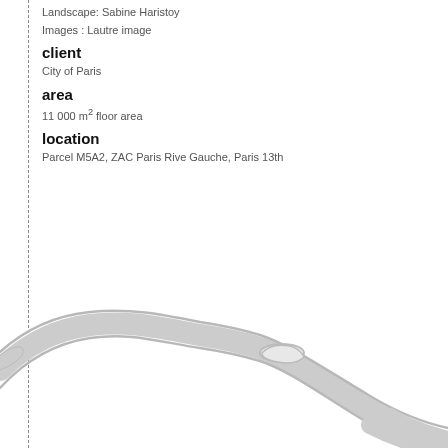Landscape: Sabine Haristoy
Images : Lautre image
client
City of Paris
area
11 000 m² floor area
location
Parcel M5A2, ZAC Paris Rive Gauche, Paris 13th
[Figure (map): Partial map outline in light grey showing curved river/road shapes, likely a section of Paris near the Seine river]